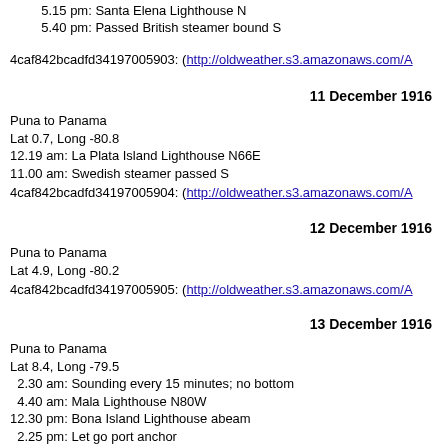5.15 pm: Santa Elena Lighthouse N
5.40 pm: Passed British steamer bound S
4caf842bcadfd34197005903: (http://oldweather.s3.amazonaws.com/A
11 December 1916
Puna to Panama
Lat 0.7, Long -80.8
12.19 am: La Plata Island Lighthouse N66E
11.00 am: Swedish steamer passed S
4caf842bcadfd34197005904: (http://oldweather.s3.amazonaws.com/A
12 December 1916
Puna to Panama
Lat 4.9, Long -80.2
4caf842bcadfd34197005905: (http://oldweather.s3.amazonaws.com/A
13 December 1916
Puna to Panama
Lat 8.4, Long -79.5
  2.30 am: Sounding every 15 minutes; no bottom
  4.40 am: Mala Lighthouse N80W
12.30 pm: Bona Island Lighthouse abeam
  2.25 pm: Let go port anchor
  2.45 pm: Customs boarded
  3.00 pm: Doctor boarded
  8.30 pm: Captain left for shore